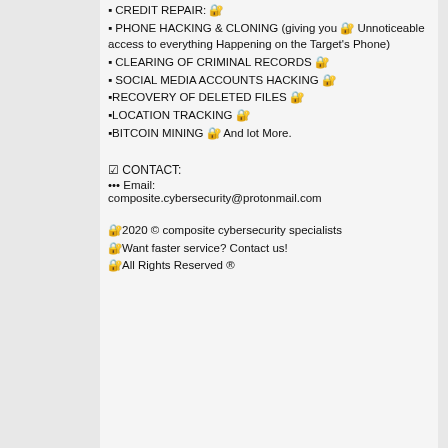▪ CREDIT REPAIR: 🔐
▪ PHONE HACKING & CLONING (giving you 🔐 Unnoticeable access to everything Happening on the Target's Phone)
▪ CLEARING OF CRIMINAL RECORDS 🔐
▪ SOCIAL MEDIA ACCOUNTS HACKING 🔐
▪RECOVERY OF DELETED FILES 🔐
▪LOCATION TRACKING 🔐
▪BITCOIN MINING 🔐 And lot More.
☑ CONTACT:
••• Email:
composite.cybersecurity@protonmail.com
🔐2020 © composite cybersecurity specialists
🔐Want faster service? Contact us!
🔐All Rights Reserved ®